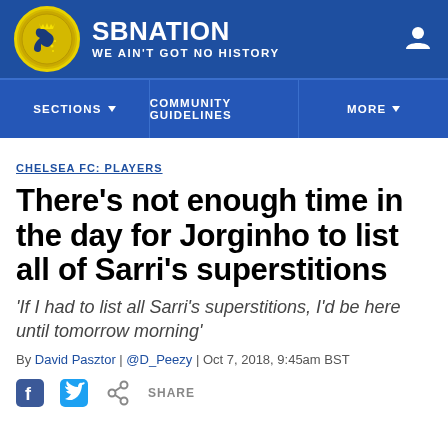SB NATION / WE AIN'T GOT NO HISTORY
SECTIONS | COMMUNITY GUIDELINES | MORE
CHELSEA FC: PLAYERS
There's not enough time in the day for Jorginho to list all of Sarri's superstitions
'If I had to list all Sarri's superstitions, I'd be here until tomorrow morning'
By David Pasztor | @D_Peezy | Oct 7, 2018, 9:45am BST